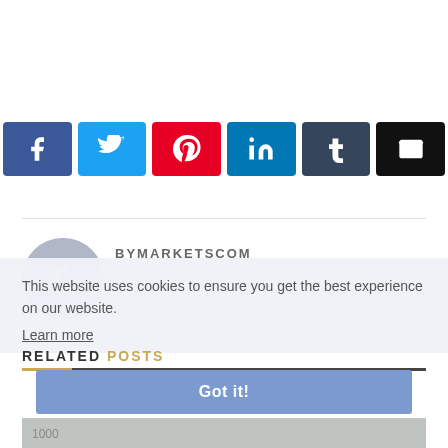[Figure (other): Social media share buttons: Facebook, Twitter, Pinterest, LinkedIn, Tumblr, Email]
BYMARKETSCOM
This website uses cookies to ensure you get the best experience on our website.
Learn more
RELATED POSTS
Got it!
[Figure (photo): Bottom image strip showing currency/money photos]